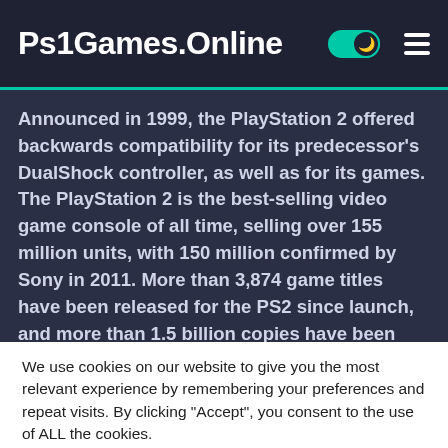Ps1Games.Online
Announced in 1999, the PlayStation 2 offered backwards compatibility for its predecessor's DualShock controller, as well as for its games. The PlayStation 2 is the best-selling video game console of all time, selling over 155 million units, with 150 million confirmed by Sony in 2011. More than 3,874 game titles have been released for the PS2 since launch, and more than 1.5 billion copies have been sold. Sony later
We use cookies on our website to give you the most relevant experience by remembering your preferences and repeat visits. By clicking “Accept”, you consent to the use of ALL the cookies.
Do not sell my personal information.
Cookie settings
ACCEPT